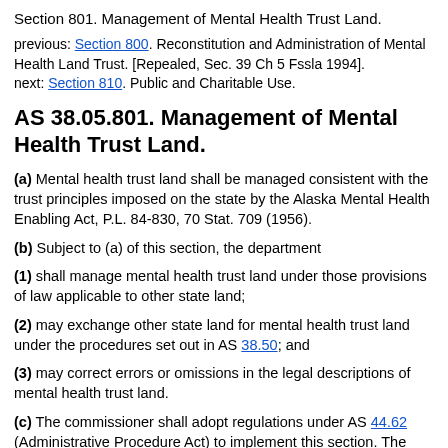Section 801. Management of Mental Health Trust Land.
previous: Section 800. Reconstitution and Administration of Mental Health Land Trust. [Repealed, Sec. 39 Ch 5 Fssla 1994].
next: Section 810. Public and Charitable Use.
AS 38.05.801. Management of Mental Health Trust Land.
(a) Mental health trust land shall be managed consistent with the trust principles imposed on the state by the Alaska Mental Health Enabling Act, P.L. 84-830, 70 Stat. 709 (1956).
(b) Subject to (a) of this section, the department
(1) shall manage mental health trust land under those provisions of law applicable to other state land;
(2) may exchange other state land for mental health trust land under the procedures set out in AS 38.50; and
(3) may correct errors or omissions in the legal descriptions of mental health trust land.
(c) The commissioner shall adopt regulations under AS 44.62 (Administrative Procedure Act) to implement this section. The regulations adopted under this subsection must, at a minimum, address
(1) maintenance of the trust land base;